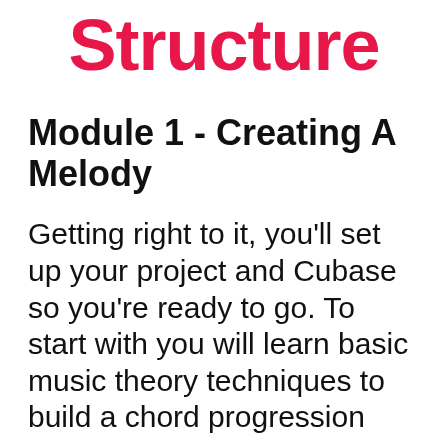Structure
Module 1 - Creating A Melody
Getting right to it, you'll set up your project and Cubase so you're ready to go. To start with you will learn basic music theory techniques to build a chord progression